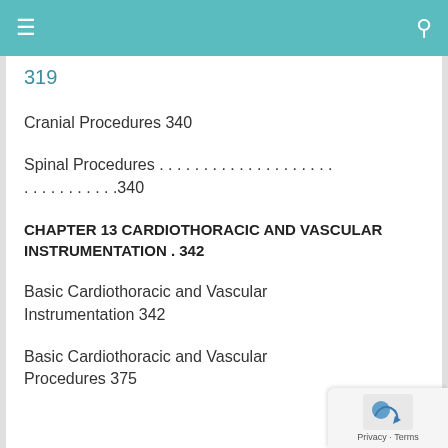≡  [search icon]
319
Cranial Procedures 340
Spinal Procedures . . . . . . . . . . . . . . . . . . . . . . . . . . . . . .340
CHAPTER 13 CARDIOTHORACIC AND VASCULAR INSTRUMENTATION . 342
Basic Cardiothoracic and Vascular Instrumentation 342
Basic Cardiothoracic and Vascular Procedures 375